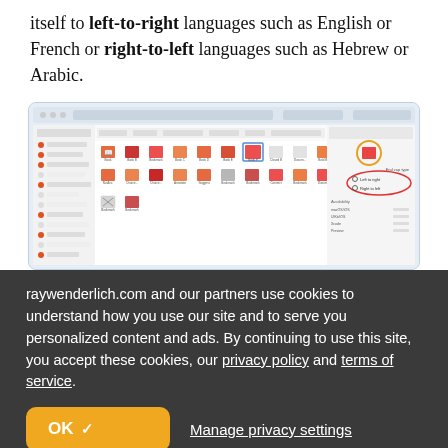itself to left-to-right languages such as English or French or right-to-left languages such as Hebrew or Arabic.
[Figure (screenshot): Screenshot of a software application (likely Xcode or similar IDE) showing an icon library/grid with red and orange icons arranged in rows, with a sidebar on the left showing categories, and a right panel showing icon details with an ellipse annotation highlighting 'Left to Right' and 'Right to Left' radio button options.]
raywenderlich.com and our partners use cookies to understand how you use our site and to serve you personalized content and ads. By continuing to use this site, you accept these cookies, our privacy policy and terms of service.
OK ✓   Manage privacy settings